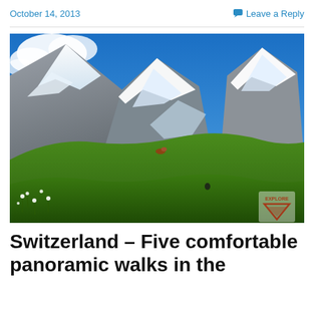October 14, 2013
Leave a Reply
[Figure (photo): Panoramic photo of Swiss Alps with snow-capped peaks, blue sky, and green alpine meadows in the foreground with wildflowers]
Switzerland – Five comfortable panoramic walks in the